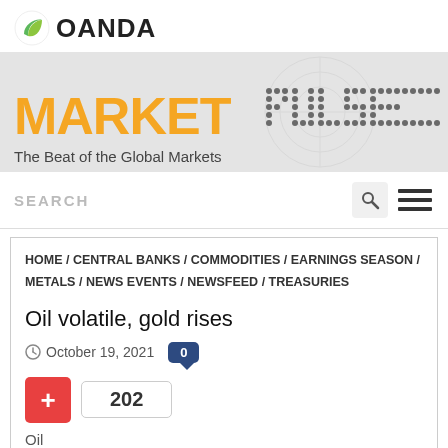[Figure (logo): OANDA logo with green leaf icon and OANDA text]
[Figure (logo): MarketPulse banner with orange MARKET text and dotted PULSE text on gray background, tagline: The Beat of the Global Markets]
SEARCH
HOME / CENTRAL BANKS / COMMODITIES / EARNINGS SEASON / METALS / NEWS EVENTS / NEWSFEED / TREASURIES
Oil volatile, gold rises
October 19, 2021
202